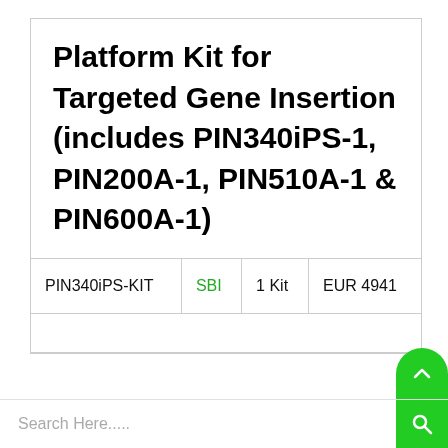Platform Kit for Targeted Gene Insertion (includes PIN340iPS-1, PIN200A-1, PIN510A-1 & PIN600A-1)
|  |  |  |  |
| --- | --- | --- | --- |
| PIN340iPS-KIT | SBI | 1 Kit | EUR 4941 |
Search Here.....